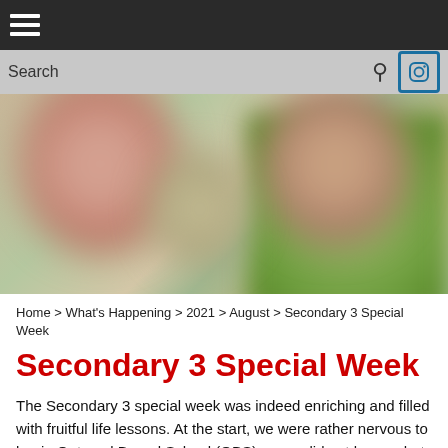☰ (hamburger menu)
Search 🔍 📷
[Figure (photo): Blurred photo of students' faces with green foliage background, used as hero image for the Secondary 3 Special Week article.]
Home > What's Happening > 2021 > August > Secondary 3 Special Week
Secondary 3 Special Week
The Secondary 3 special week was indeed enriching and filled with fruitful life lessons. At the start, we were rather nervous to begin Outward Bound School (OBS) as we did not know what to expect at the camp. Initially, with the scorching sun and a highly humid environment, we thought we would dread the